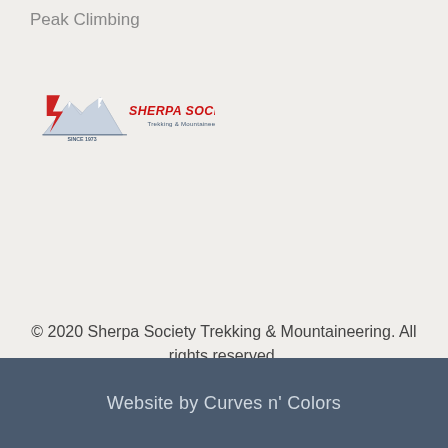Peak Climbing
[Figure (logo): Sherpa Society (P.) LTD. logo with mountain graphic, lightning bolt S, text SINCE 1973, and Trekking & Mountaineering subtitle]
[Figure (other): Facebook icon and TripAdvisor icon social media buttons, plus a scroll-to-top arrow button]
© 2020 Sherpa Society Trekking & Mountaineering. All rights reserved.
Website by Curves n' Colors